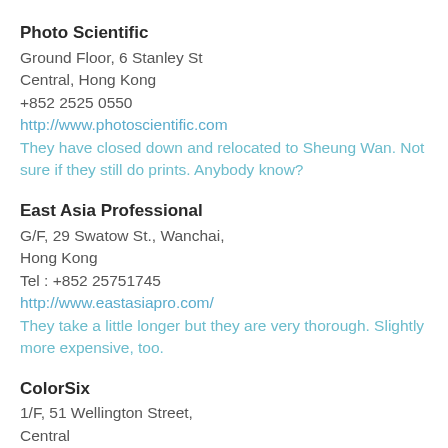Photo Scientific
Ground Floor, 6 Stanley St
Central, Hong Kong
+852 2525 0550
http://www.photoscientific.com
They have closed down and relocated to Sheung Wan. Not sure if they still do prints. Anybody know?
East Asia Professional
G/F, 29 Swatow St., Wanchai,
Hong Kong
Tel : +852 25751745
http://www.eastasiapro.com/
They take a little longer but they are very thorough. Slightly more expensive, too.
ColorSix
1/F, 51 Wellington Street,
Central
Hong Kong
Tel : 2526 0123